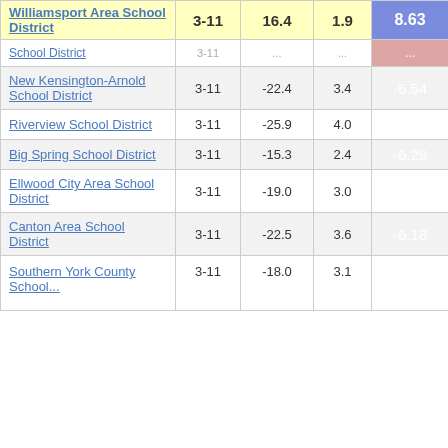| School District | Grades | Col3 | Col4 | Score |
| --- | --- | --- | --- | --- |
| Williamsport Area School District | 3-11 | 16.4 | 1.9 | 8.63 |
| School District | 3-11 | ... | ... | ... |
| New Kensington-Arnold School District | 3-11 | -22.4 | 3.4 | -6.54 |
| Riverview School District | 3-11 | -25.9 | 4.0 | -6.41 |
| Big Spring School District | 3-11 | -15.3 | 2.4 | -6.29 |
| Ellwood City Area School District | 3-11 | -19.0 | 3.0 | -6.27 |
| Canton Area School District | 3-11 | -22.5 | 3.6 | -6.18 |
| Southern York County School District | 3-11 | -18.0 | 3.1 | ... |